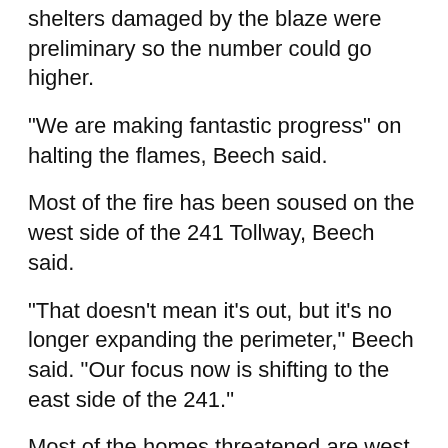division, said the numbers of homes, garages and shelters damaged by the blaze were preliminary so the number could go higher.
"We are making fantastic progress" on halting the flames, Beech said.
Most of the fire has been soused on the west side of the 241 Tollway, Beech said.
"That doesn't mean it's out, but it's no longer expanding the perimeter," Beech said. "Our focus now is shifting to the east side of the 241."
Most of the homes threatened are west of the tollway. It's mostly brush on the east side.
"We hope to have a lot of you back in your homes this evening," Beech said.